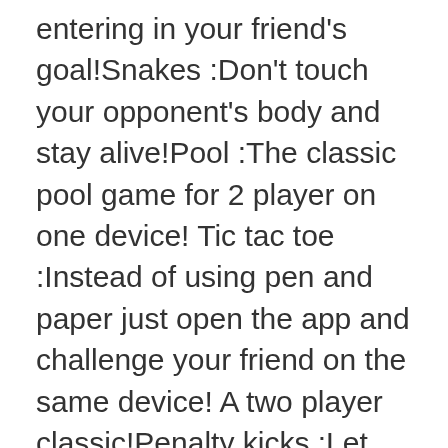entering in your friend's goal!Snakes :Don't touch your opponent's body and stay alive!Pool :The classic pool game for 2 player on one device! Tic tac toe :Instead of using pen and paper just open the app and challenge your friend on the same device! A two player classic!Penalty kicks :Let the goalkeeper dive and kick the soccer ball to make goal! Sumo :The multiplayer version of a famous Japanese sport!This collection of 2 player games features beautiful minimal graphics to keep your focused on the duel with your opponent and it saves scores between matches, this way you can dispute a 2 player cup and let the challenge go on between minigames!Unleash the power of local multiplayer on one device / one phone / one tablet, and bring the fun to the party!Disclaimer: this multiplayer